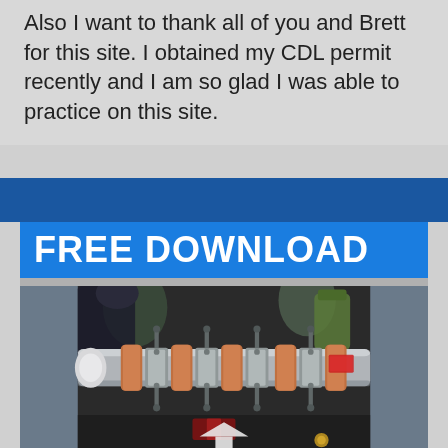Also I want to thank all of you and Brett for this site. I obtained my CDL permit recently and I am so glad I was able to practice on this site.
[Figure (photo): Photo of a truck engine with a 'FREE DOWNLOAD' blue banner overlay at the top and an upward arrow at the bottom]